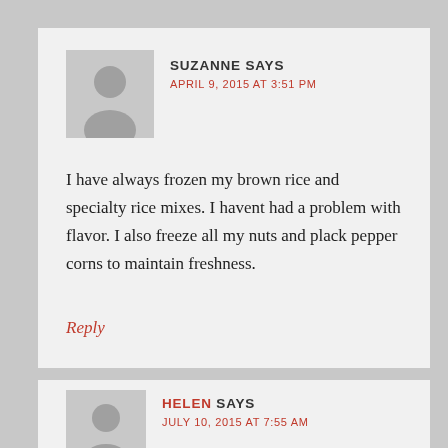SUZANNE SAYS
APRIL 9, 2015 AT 3:51 PM
I have always frozen my brown rice and specialty rice mixes. I havent had a problem with flavor. I also freeze all my nuts and plack pepper corns to maintain freshness.
Reply
HELEN SAYS
JULY 10, 2015 AT 7:55 AM